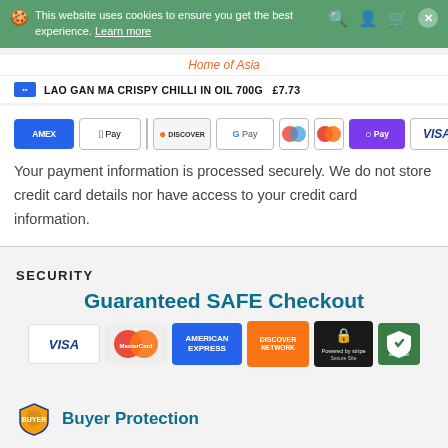This website uses cookies to ensure you get the best experience. Learn more
LAO GAN MA CRISPY CHILLI IN OIL 700G  £7.73
[Figure (other): Payment method icons: AMEX, Apple Pay, Diners Club, Discover, Google Pay, Maestro, Mastercard, O Pay, VISA]
Your payment information is processed securely. We do not store credit card details nor have access to your credit card information.
SECURITY
[Figure (other): Guaranteed SAFE Checkout banner with VISA, MasterCard, American Express, Discover Network, Powered by Stripe, and AES-256bit security badge icons]
Buyer Protection